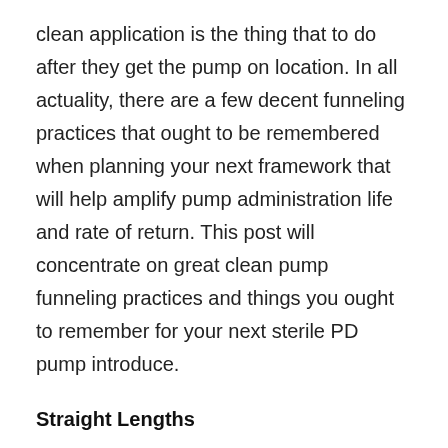clean application is the thing that to do after they get the pump on location. In all actuality, there are a few decent funneling practices that ought to be remembered when planning your next framework that will help amplify pump administration life and rate of return. This post will concentrate on great clean pump funneling practices and things you ought to remember for your next sterile PD pump introduce.
Straight Lengths
At the point when introducing a clean pump, it is absolutely critical to permit 4-6 tube distances across of straight bay tubing into the pump. This